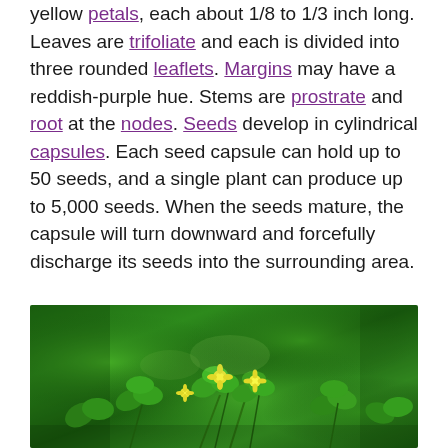yellow petals, each about 1/8 to 1/3 inch long. Leaves are trifoliate and each is divided into three rounded leaflets. Margins may have a reddish-purple hue. Stems are prostrate and root at the nodes. Seeds develop in cylindrical capsules. Each seed capsule can hold up to 50 seeds, and a single plant can produce up to 5,000 seeds. When the seeds mature, the capsule will turn downward and forcefully discharge its seeds into the surrounding area.
[Figure (photo): Close-up photograph of green clover-like plants with small yellow flowers growing densely, showing trifoliate leaves and yellow blooms]